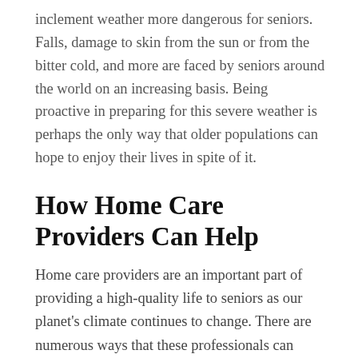inclement weather more dangerous for seniors. Falls, damage to skin from the sun or from the bitter cold, and more are faced by seniors around the world on an increasing basis. Being proactive in preparing for this severe weather is perhaps the only way that older populations can hope to enjoy their lives in spite of it.
How Home Care Providers Can Help
Home care providers are an important part of providing a high-quality life to seniors as our planet's climate continues to change. There are numerous ways that these professionals can protect their clients, including:
Advising seniors on safe procedures during heat waves or cold spells that have killed thousands